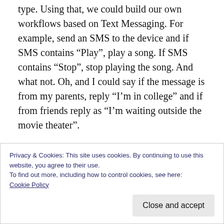type. Using that, we could build our own workflows based on Text Messaging. For example, send an SMS to the device and if SMS contains “Play”, play a song. If SMS contains “Stop”, stop playing the song. And what not. Oh, and I could say if the message is from my parents, reply “I’m in college” and if from friends reply as “I’m waiting outside the movie theater”.
However, I missed this functionality for a long time with different devices (lack of message intercepting API on some platforms). And recently
Privacy & Cookies: This site uses cookies. By continuing to use this website, you agree to their use.
To find out more, including how to control cookies, see here:
Cookie Policy